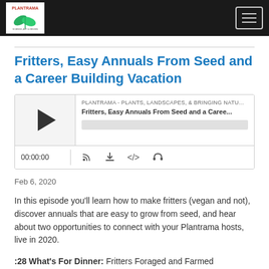PLANTRAMA navigation bar with logo and menu button
Fritters, Easy Annuals From Seed and a Career Building Vacation
[Figure (other): Embedded audio podcast player showing channel PLANTRAMA - PLANTS, LANDSCAPES, & BRINGING NATURE INDO with episode title Fritters, Easy Annuals From Seed and a Caree... play button, progress bar, time 00:00:00, and control icons for RSS, download, embed, and headphones]
Feb 6, 2020
In this episode you'll learn how to make fritters (vegan and not), discover annuals that are easy to grow from seed, and hear about two opportunities to connect with your Plantrama hosts, live in 2020.
:28 What's For Dinner: Fritters Foraged and Farmed